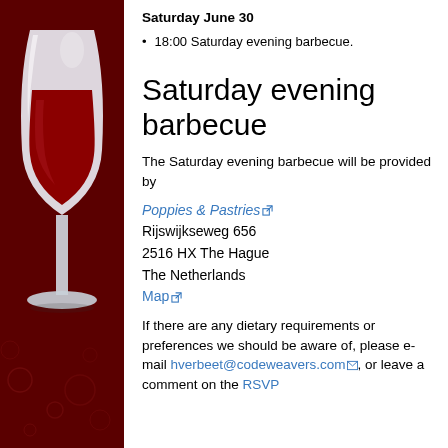[Figure (illustration): Red background with wine glass (goblet) illustration on the left panel]
Saturday June 30
18:00 Saturday evening barbecue.
Saturday evening barbecue
The Saturday evening barbecue will be provided by
Poppies & Pastries [external link]
Rijswijkseweg 656
2516 HX The Hague
The Netherlands
Map [external link]
If there are any dietary requirements or preferences we should be aware of, please e-mail hverbeet@codeweavers.com [mail], or leave a comment on the RSVP